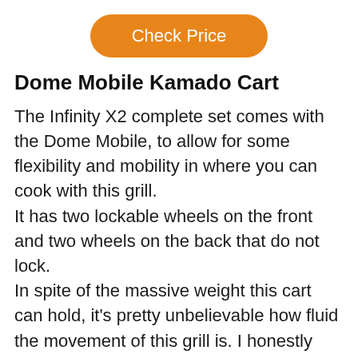[Figure (other): Orange rounded button labeled 'Check Price']
Dome Mobile Kamado Cart
The Infinity X2 complete set comes with the Dome Mobile, to allow for some flexibility and mobility in where you can cook with this grill.
It has two lockable wheels on the front and two wheels on the back that do not lock.
In spite of the massive weight this cart can hold, it's pretty unbelievable how fluid the movement of this grill is. I honestly don't think I've ever had a grill that was as easy to move